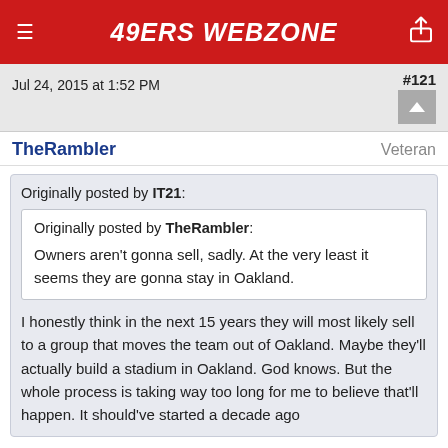49ERS WEBZONE
Jul 24, 2015 at 1:52 PM   #121
TheRambler   Veteran
Originally posted by IT21:
Originally posted by TheRambler:
Owners aren't gonna sell, sadly. At the very least it seems they are gonna stay in Oakland.
I honestly think in the next 15 years they will most likely sell to a group that moves the team out of Oakland. Maybe they'll actually build a stadium in Oakland. God knows. But the whole process is taking way too long for me to believe that'll happen. It should've started a decade ago
Call me optimistic, but I think MLB will strong arm Wolff and co into sh*tting or getting off the pot re Oakland. I think it depends on 1) Wolffe and co finally letting go of the San Jose pipe dream and